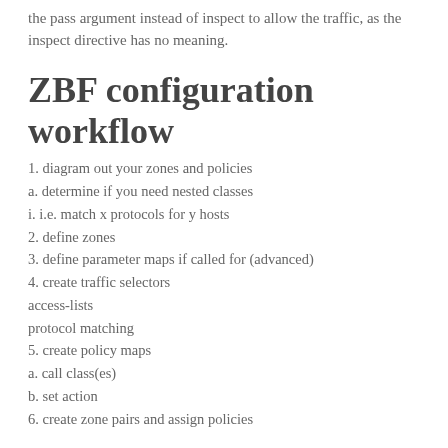the pass argument instead of inspect to allow the traffic, as the inspect directive has no meaning.
ZBF configuration workflow
1. diagram out your zones and policies
a. determine if you need nested classes
i. i.e. match x protocols for y hosts
2. define zones
3. define parameter maps if called for (advanced)
4. create traffic selectors
access-lists
protocol matching
5. create policy maps
a. call class(es)
b. set action
6. create zone pairs and assign policies